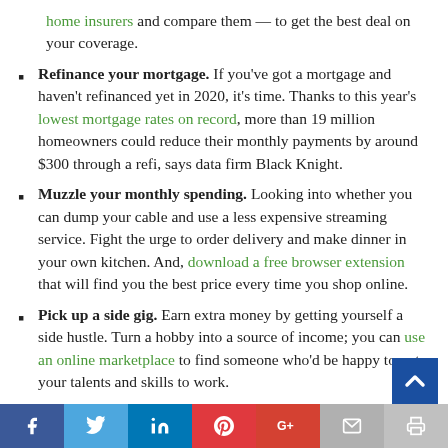home insurers and compare them — to get the best deal on your coverage.
Refinance your mortgage. If you've got a mortgage and haven't refinanced yet in 2020, it's time. Thanks to this year's lowest mortgage rates on record, more than 19 million homeowners could reduce their monthly payments by around $300 through a refi, says data firm Black Knight.
Muzzle your monthly spending. Looking into whether you can dump your cable and use a less expensive streaming service. Fight the urge to order delivery and make dinner in your own kitchen. And, download a free browser extension that will find you the best price every time you shop online.
Pick up a side gig. Earn extra money by getting yourself a side hustle. Turn a hobby into a source of income; you can use an online marketplace to find someone who'd be happy to put your talents and skills to work.